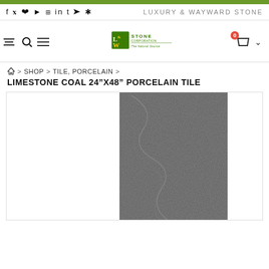LUXURY & WAYWARD STONE
[Figure (logo): L&W Stone Corporation - The Natural Source logo with green square and text]
🏠 > SHOP > TILE, PORCELAIN >
LIMESTONE COAL 24"X48" PORCELAIN TILE
[Figure (photo): Limestone Coal porcelain tile in dark charcoal/grey textured stone finish]